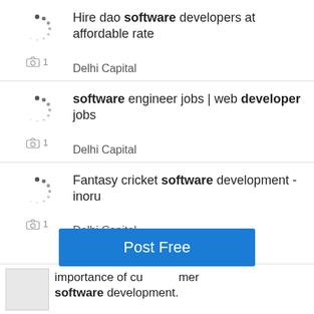Hire dao software developers at affordable rate
Delhi Capital
software engineer jobs | web developer jobs
Delhi Capital
Fantasy cricket software development - inoru
Delhi Capital
Post Free
importance of customer software development.